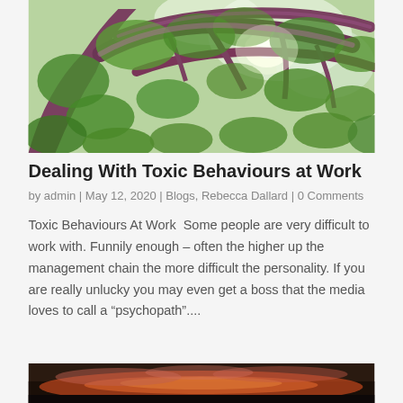[Figure (photo): Looking up through tree branches with green leaves, purple/pink tinted trunk, bright sky visible through foliage]
Dealing With Toxic Behaviours at Work
by admin | May 12, 2020 | Blogs, Rebecca Dallard | 0 Comments
Toxic Behaviours At Work  Some people are very difficult to work with. Funnily enough – often the higher up the management chain the more difficult the personality. If you are really unlucky you may even get a boss that the media loves to call a “psychopath”....
[Figure (photo): Sunset or sunrise sky with orange and pink clouds over a dark horizon]